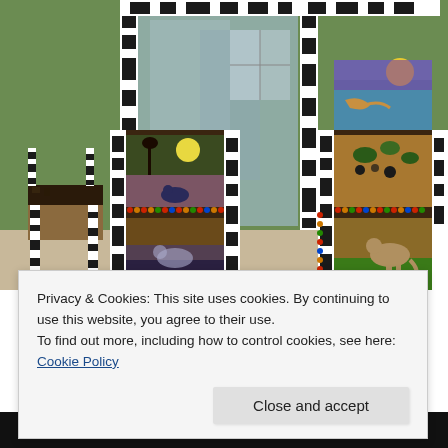[Figure (photo): Photograph of artistic furniture pieces decorated with zebra-stripe black and white patterns and painted drawer fronts showing wildlife scenes including a kangaroo, trees with moon, and other animals. A small stool/chair is visible on the left. Mirrors with zebra-print frames are visible in the background. The furniture is set against a green wall.]
Privacy & Cookies: This site uses cookies. By continuing to use this website, you agree to their use.
To find out more, including how to control cookies, see here: Cookie Policy
[Figure (photo): Partial view of a decorative gold cursive text/logo strip at the bottom of the page, dark background.]